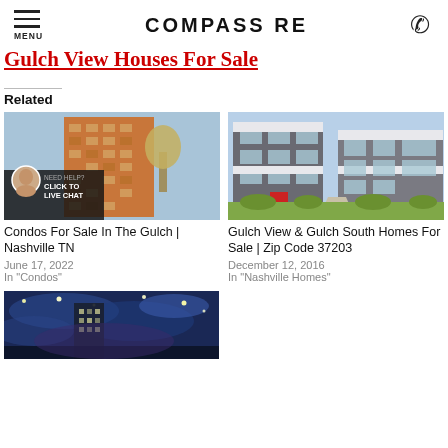MENU | COMPASS RE | phone
Gulch View Houses For Sale
Related
[Figure (photo): Tall brick condo building photographed from below with blue sky; overlay shows agent avatar and 'NEED HELP? CLICK TO LIVE CHAT' text]
Condos For Sale In The Gulch | Nashville TN
June 17, 2022
In "Condos"
[Figure (photo): Modern grey townhomes exterior with red front door, green lawn, blue sky]
Gulch View & Gulch South Homes For Sale | Zip Code 37203
December 12, 2016
In "Nashville Homes"
[Figure (photo): High rise building with Van Gogh Starry Night style artistic sky overlay]